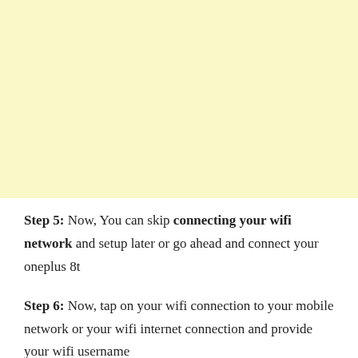[Figure (other): Yellow/cream colored background area filling the top portion of the page]
Step 5: Now, You can skip connecting your wifi network and setup later or go ahead and connect your oneplus 8t
Step 6: Now, tap on your wifi connection to your mobile network or your wifi internet connection and provide your wifi username